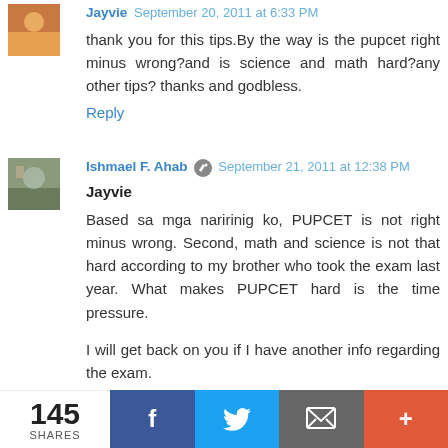Jayvie September 20, 2011 at 6:33 PM
thank you for this tips.By the way is the pupcet right minus wrong?and is science and math hard?any other tips? thanks and godbless.
Reply
Ishmael F. Ahab September 21, 2011 at 12:38 PM
Jayvie
Based sa mga naririnig ko, PUPCET is not right minus wrong. Second, math and science is not that hard according to my brother who took the exam last year. What makes PUPCET hard is the time pressure.
I will get back on you if I have another info regarding the exam.
Thanks for the visit. God bless you too.
145 SHARES